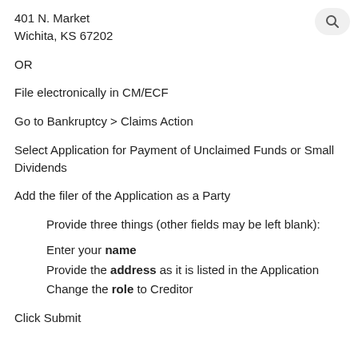401 N. Market
Wichita, KS 67202
OR
File electronically in CM/ECF
Go to Bankruptcy > Claims Action
Select Application for Payment of Unclaimed Funds or Small Dividends
Add the filer of the Application as a Party
Provide three things (other fields may be left blank):
Enter your name
Provide the address as it is listed in the Application
Change the role to Creditor
Click Submit